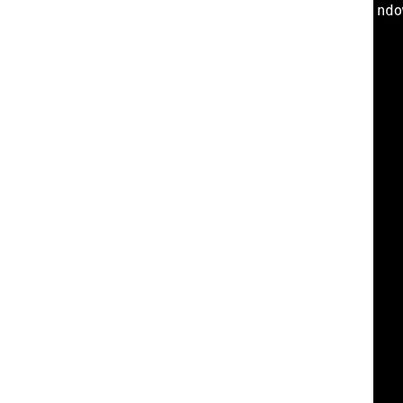ndowSystem.so.5.94.0 /usr/lib/libX11.so /usr/lib/libQt5Component.so.5.15.4 /usr/lib/libQt5lGui.so.5.94.0 /usr/lib/libQt5rintSupport.so.5.15.4 /usr/lib/libQt5Network.so.5.15.4 /usr/lib/libKF5TextWidgets.so.5.94.0 /usr/lib/libKF5Completion.so.5.94.0 /usr/lib/libKF5SonnetUi.so.5.94.0 /usr/lib/libKF5ConfigWidgets.so.5.94.0 /usr/lib/libKF5WidgetsAddons.so.5.94.0 /usr/lib/libKF5I18n.so.5.94.0 /usr/lib/libKF5ConfigGui.so.5.94.0 /usr/lib/libQt5Xml.so.5.15.4 /usr/lib/libKF5ConfigCore.so.5.94.0 /usr/lib/libKF5Codecs.so.5.94.0 /usr/lib/libKF5Auth.so.5.94.0 /usr/lib/libKF5AuthCore.so.5.94.0 /usr/lib/libKF5CoreAddons.so.5.94.0 /usr/lib/libQt5DBus.so.5.15.4 /usr/lib/libQt5Widgets.so.5.15.4 /usr/lib/libQt5Gui.so.5.15.4